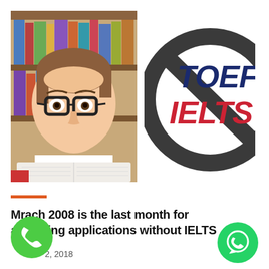[Figure (photo): Young man with glasses looking shocked, holding an open book, bookshelf in background]
[Figure (illustration): No-entry circle symbol (dark grey) with TOEFL text in dark blue and IELTS text in red beneath it, partially cropped]
Mrach 2008 is the last month for accepting applications without IELTS
2, 2018
[Figure (illustration): Green circle phone call button icon]
[Figure (illustration): Green WhatsApp button icon]